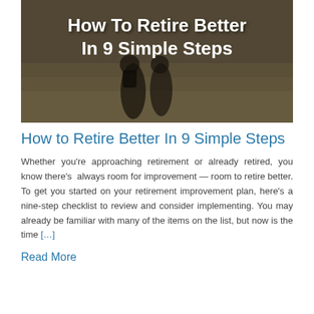[Figure (photo): Two elderly people walking together in a field, viewed from behind, with text overlay reading 'How To Retire Better In 9 Simple Steps']
How to Retire Better In 9 Simple Steps
Whether you're approaching retirement or already retired, you know there's always room for improvement — room to retire better. To get you started on your retirement improvement plan, here's a nine-step checklist to review and consider implementing. You may already be familiar with many of the items on the list, but now is the time […]
Read More